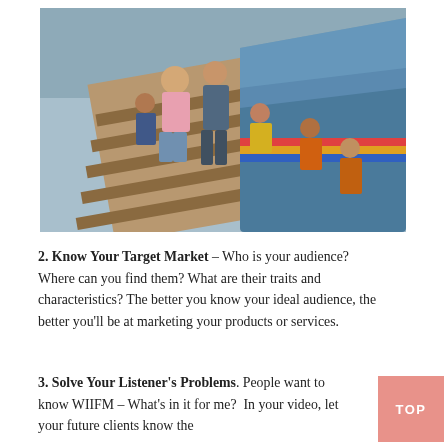[Figure (photo): Overhead photo of a group of adults and children boarding or disembarking a colorful boat via a wooden dock/ladder structure over water. Several people wearing orange life vests are visible inside the boat.]
2. Know Your Target Market – Who is your audience? Where can you find them? What are their traits and characteristics? The better you know your ideal audience, the better you'll be at marketing your products or services.
3. Solve Your Listener's Problems. People want to know WIIFM – What's in it for me?  In your video, let your future clients know the